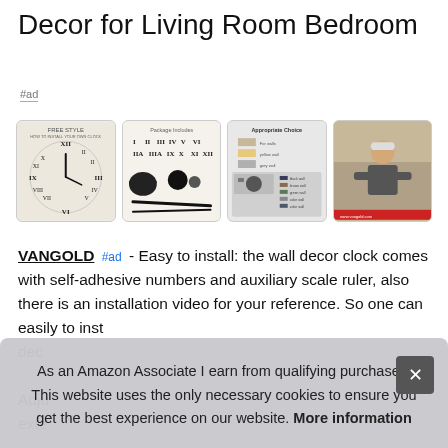Decor for Living Room Bedroom
#ad
[Figure (photo): Four product images showing a large wall clock with Roman numerals, package contents with clock parts, installation/choice guide, and a craftsman/seller photo]
VANGOLD #ad - Easy to install: the wall decor clock comes with self-adhesive numbers and auxiliary scale ruler, also there is an installation video for your reference. So one can easily to inst dec
Adju exte
As an Amazon Associate I earn from qualifying purchases. This website uses the only necessary cookies to ensure you get the best experience on our website. More information